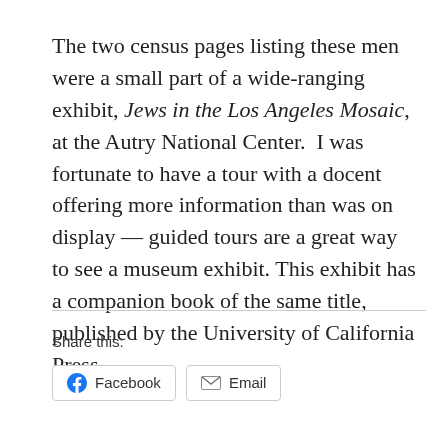The two census pages listing these men were a small part of a wide-ranging exhibit, Jews in the Los Angeles Mosaic, at the Autry National Center.  I was fortunate to have a tour with a docent offering more information than was on display — guided tours are a great way to see a museum exhibit. This exhibit has a companion book of the same title, published by the University of California Press.
[Figure (other): Facebook Like button (blue button with thumbs-up icon and 'Like' text)]
Share this:
[Figure (other): Facebook and Email share buttons]